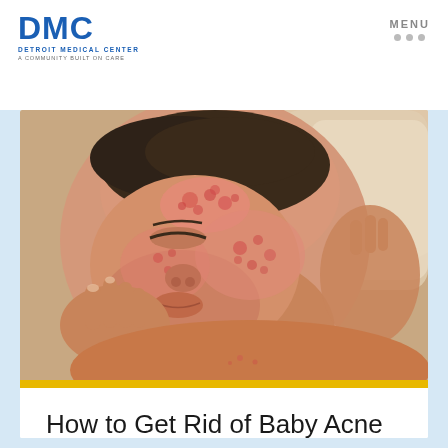DMC — DETROIT MEDICAL CENTER — A COMMUNITY BUILT ON CARE
[Figure (photo): Close-up photo of a sleeping newborn baby with red acne rash covering forehead, cheeks and chin. Baby's hand visible near chin. Light background.]
How to Get Rid of Baby Acne